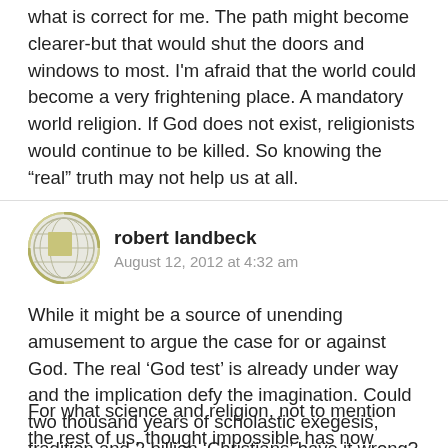what is correct for me. The path might become clearer-but that would shut the doors and windows to most. I'm afraid that the world could become a very frightening place. A mandatory world religion. If God does not exist, religionists would continue to be killed. So knowing the “real” truth may not help us at all.
[Figure (illustration): Circular avatar icon with geometric globe/grid pattern in olive/yellow tones]
robert landbeck
August 12, 2012 at 4:32 am
While it might be a source of unending amusement to argue the case for or against God. The real ‘God test’ is already under way and the implication defy the imagination. Could two thousand years of scholastic exegesis, tradition and 2 billion ‘Christians’ have it wrong? . . . We are on the threshold of finding out!
For what science and religion, not to mention the rest of us, thought impossible has now happened. History has its first